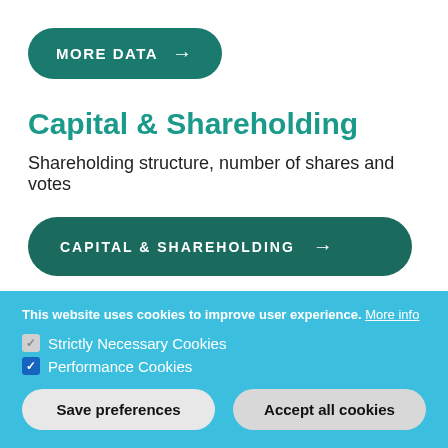[Figure (other): Teal rounded button labeled MORE DATA with arrow]
Capital & Shareholding
Shareholding structure, number of shares and votes
[Figure (other): Dark teal rounded button labeled CAPITAL & SHAREHOLDING with arrow]
This website uses cookies to improve user experience. More info
Strictly Necessary Cookies
Performance Cookies
Save preferences
Accept all cookies